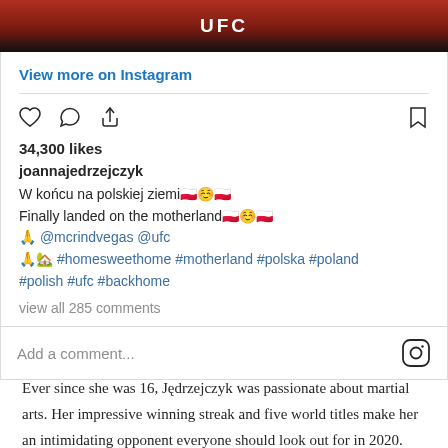[Figure (photo): Cropped top portion of an Instagram post showing an image with a person wearing red UFC branded clothing. UFC logo visible in white text on black background.]
View more on Instagram
34,300 likes
joannajedrzejczyk
W końcu na polskiej ziemi🇵🇱☺️🇵🇱
Finally landed on the motherland🇵🇱☺️🇵🇱
🙏 @mcrindvegas @ufc
🙏🏡 #homesweethome #motherland #polska #poland #polish #ufc #backhome
view all 285 comments
Add a comment...
Ever since she was 16, Jędrzejczyk was passionate about martial arts. Her impressive winning streak and five world titles make her an intimidating opponent everyone should look out for in 2020.